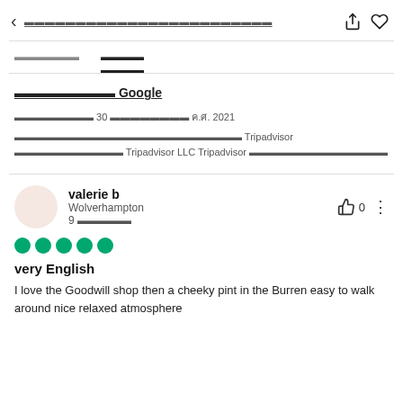< ████████████████████████
████████  █████
████████████ Google
██████████ 30 █████████ ค.ศ. 2021
██████████████████████████████████████ Tripadvisor ████████████ Tripadvisor LLC Tripadvisor ██████████████████
valerie b
Wolverhampton
9 █████
very English
I love the Goodwill shop then a cheeky pint in the Burren easy to walk around nice relaxed atmosphere